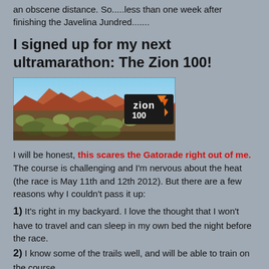an obscene distance. So.....less than one week after finishing the Javelina Jundred.......
I signed up for my next ultramarathon: The Zion 100!
[Figure (photo): Panoramic landscape photo of Zion area desert scenery with red rock formations and scrubby vegetation under a blue sky, with the Zion 100 race logo overlaid in the top right corner.]
I will be honest, this scares the Gatorade right out of me. The course is challenging and I'm nervous about the heat (the race is May 11th and 12th 2012). But there are a few reasons why I couldn't pass it up:
1) It's right in my backyard. I love the thought that I won't have to travel and can sleep in my own bed the night before the race.
2) I know some of the trails well, and will be able to train on the course.
3) This is the innagural race (there is a 50 miler as well).